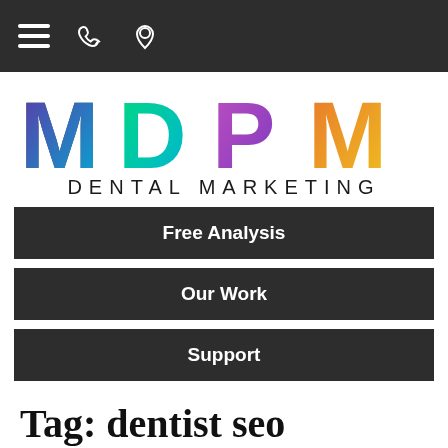Navigation bar with hamburger menu, phone icon, and location pin icon
[Figure (logo): MDPM Dental Marketing logo with colorful gradient letters M, D, P, M and subtitle DENTAL MARKETING]
Free Analysis
Our Work
Support
Tag: dentist seo